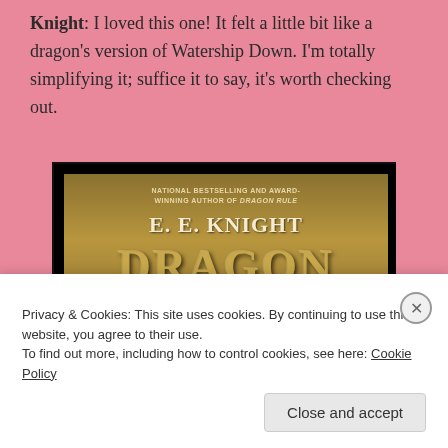Knight: I loved this one! It felt a little bit like a dragon's version of Watership Down. I'm totally simplifying it; suffice it to say, it's worth checking out.
[Figure (illustration): Book cover of 'Dragon' by E. E. Knight. Gold/brown background with text: 'National Bestselling and Award-Winning Author of Dragon Rule' at top, then 'E. E. KNIGHT' in large serif font, then 'DRAGON' in very large gold letters.]
Privacy & Cookies: This site uses cookies. By continuing to use this website, you agree to their use.
To find out more, including how to control cookies, see here: Cookie Policy